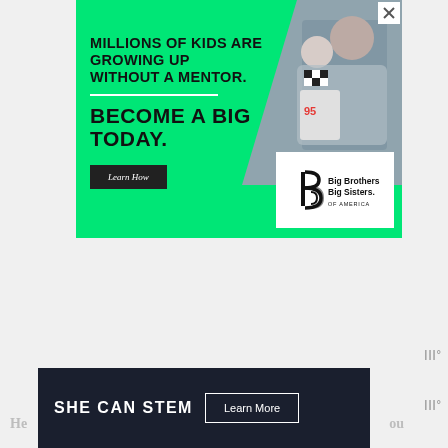[Figure (infographic): Big Brothers Big Sisters of America advertisement. Green background with black bold uppercase text: 'MILLIONS OF KIDS ARE GROWING UP WITHOUT A MENTOR.' with a white horizontal divider line, then larger text 'BECOME A BIG TODAY.' A black 'Learn How' button, and the Big Brothers Big Sisters of America logo in a white box at lower right. A photo of an adult and child working together appears in the upper right area.]
[Figure (infographic): SHE CAN STEM advertisement on dark background with white bold uppercase text 'SHE CAN STEM' and a 'Learn More' button with white border.]